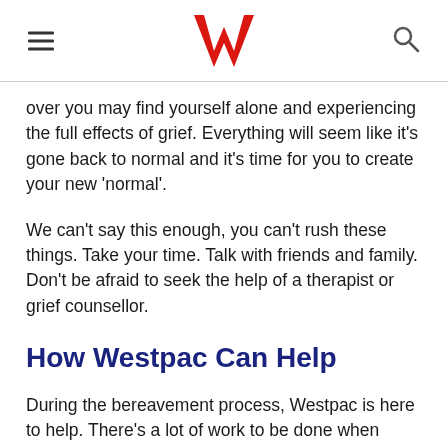Westpac logo, hamburger menu, search icon
over you may find yourself alone and experiencing the full effects of grief. Everything will seem like it’s gone back to normal and it’s time for you to create your new ‘normal’.
We can’t say this enough, you can’t rush these things. Take your time. Talk with friends and family. Don’t be afraid to seek the help of a therapist or grief counsellor.
How Westpac Can Help
During the bereavement process, Westpac is here to help. There’s a lot of work to be done when managing the deceased’s estate.